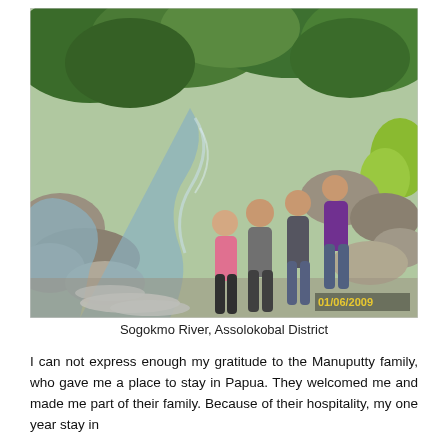[Figure (photo): Four young women posing together on rocks beside a flowing river (Sogokmo River, Assolokobal District). Lush green trees in the background. A date stamp '01/06/2009' is visible in the lower right corner of the photo.]
Sogokmo River, Assolokobal District
I can not express enough my gratitude to the Manuputty family, who gave me a place to stay in Papua. They welcomed me and made me part of their family. Because of their hospitality, my one year stay in